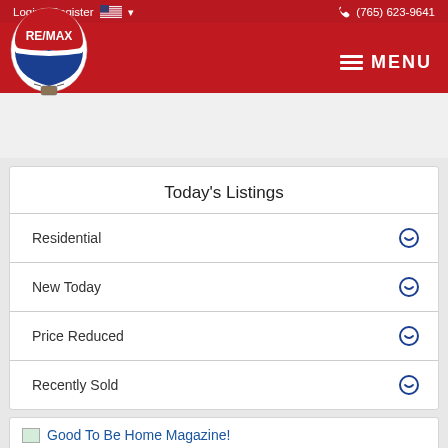Login / Register  (765) 623-9641  MENU
Today's Listings
Residential
New Today
Price Reduced
Recently Sold
Good To Be Home Magazine!